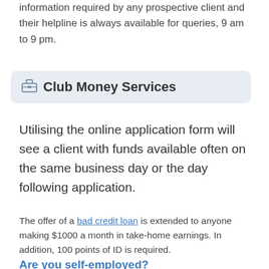information required by any prospective client and their helpline is always available for queries, 9 am to 9 pm.
Club Money Services
Utilising the online application form will see a client with funds available often on the same business day or the day following application.
The offer of a bad credit loan is extended to anyone making $1000 a month in take-home earnings. In addition, 100 points of ID is required.
Are you self-employed?